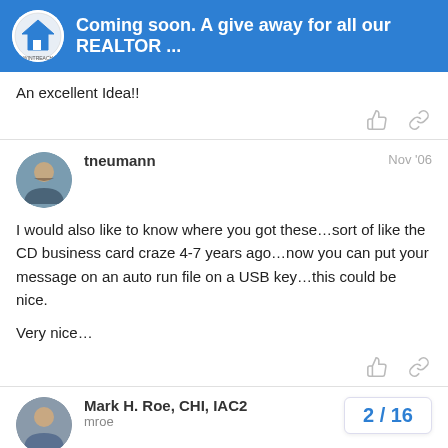Coming soon. A give away for all our REALTOR ...
An excellent Idea!!
tneumann  Nov '06
I would also like to know where you got these…sort of like the CD business card craze 4-7 years ago…now you can put your message on an auto run file on a USB key…this could be nice.

Very nice…
Mark H. Roe, CHI, IAC2  Nov '06
mroe
Now your thinking Tony. We just have to re